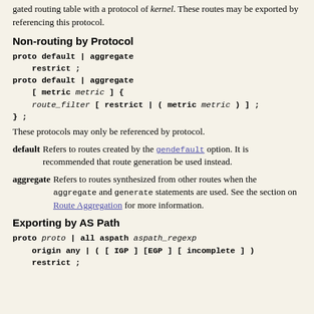gated routing table with a protocol of kernel. These routes may be exported by referencing this protocol.
Non-routing by Protocol
proto default | aggregate
    restrict ;
proto default | aggregate
    [ metric metric ] {
    route_filter [ restrict | ( metric metric ) ] ;
} ;
These protocols may only be referenced by protocol.
default   Refers to routes created by the gendefault option. It is recommended that route generation be used instead.
aggregate   Refers to routes synthesized from other routes when the aggregate and generate statements are used. See the section on Route Aggregation for more information.
Exporting by AS Path
proto proto | all aspath aspath_regexp
    origin any | ( [ IGP ] [EGP ] [ incomplete ] )
    restrict ;